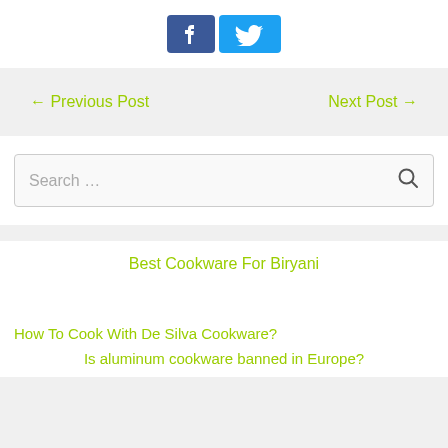[Figure (illustration): Social share buttons: Facebook (blue square with thumbs up) and Twitter (light blue rectangle with bird icon)]
← Previous Post     Next Post →
Search ...
Best Cookware For Biryani
How To Cook With De Silva Cookware?
Is aluminum cookware banned in Europe?